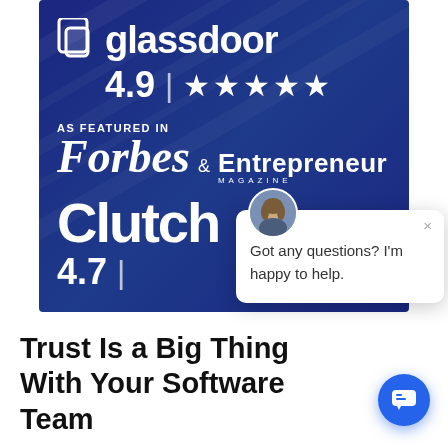[Figure (infographic): Dark blue banner showing Glassdoor 4.9 star rating, 'As Featured In Forbes & Entrepreneur Magazine', and Clutch 4.7 rating, with a chat popup overlay showing 'Got any questions? I'm happy to help.']
Trust Is a Big Thing With Your Software Team